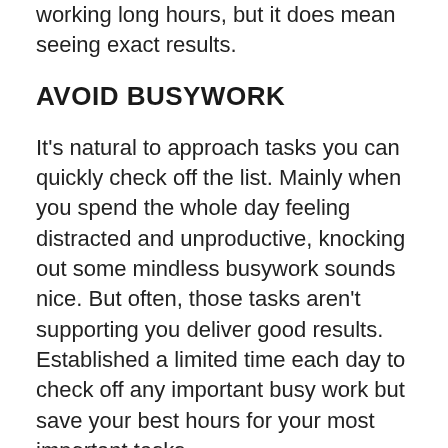working long hours, but it does mean seeing exact results.
AVOID BUSYWORK
It's natural to approach tasks you can quickly check off the list. Mainly when you spend the whole day feeling distracted and unproductive, knocking out some mindless busywork sounds nice. But often, those tasks aren't supporting you deliver good results. Established a limited time each day to check off any important busy work but save your best hours for your most important tasks.